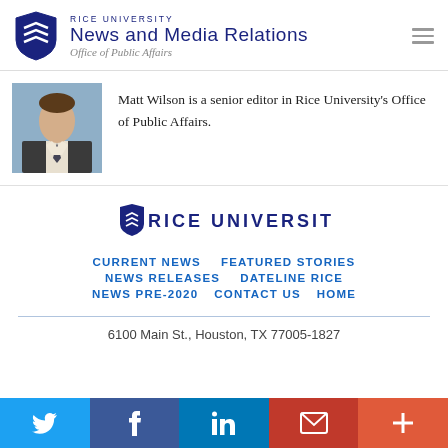RICE UNIVERSITY News and Media Relations Office of Public Affairs
[Figure (photo): Headshot photo of Matt Wilson]
Matt Wilson is a senior editor in Rice University's Office of Public Affairs.
[Figure (logo): Rice University shield logo with text RICE UNIVERSITY]
CURRENT NEWS
FEATURED STORIES
NEWS RELEASES
DATELINE RICE
NEWS PRE-2020
CONTACT US
HOME
6100 Main St., Houston, TX 77005-1827
Twitter | Facebook | LinkedIn | Gmail | More